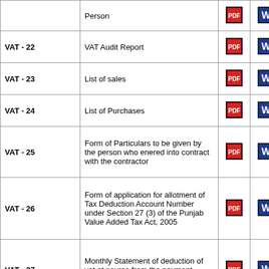| Form | Description | PDF | Word | Excel |
| --- | --- | --- | --- | --- |
|  | Person |  |  |  |
| VAT - 22 | VAT Audit Report | [pdf] | [word] | [excel] |
| VAT - 23 | List of sales | [pdf] | [word] | [excel] |
| VAT - 24 | List of Purchases | [pdf] | [word] | [excel] |
| VAT - 25 | Form of Particulars to be given by the person who enered into contract with the contractor | [pdf] | [word] | [excel] |
| VAT - 26 | Form of application for allotment of Tax Deduction Account Number under Section 27 (3) of the Punjab Value Added Tax Act, 2005 | [pdf] | [word] | [excel] |
| VAT - 27 | Monthly Statement of deduction of vat at source from the payment made to contractors / sub contractors | [pdf] | [word] | [excel] |
| VAT - 28 | Certificate of deduction of tax from payments made to contractors | [pdf] | [word] | [excel] |
| VAT - 29 | Application for Refunds by a Person (Other than organisations | [pdf] | [word] | [excel] |